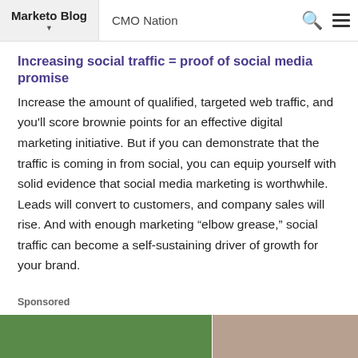Marketo Blog   CMO Nation
Increasing social traffic = proof of social media promise
Increase the amount of qualified, targeted web traffic, and you’ll score brownie points for an effective digital marketing initiative. But if you can demonstrate that the traffic is coming in from social, you can equip yourself with solid evidence that social media marketing is worthwhile. Leads will convert to customers, and company sales will rise. And with enough marketing “elbow grease,” social traffic can become a self-sustaining driver of growth for your brand.
Sponsored
[Figure (photo): Sponsored image area showing two partial images side by side — left appears to be a green outdoor scene, right appears to be a brown/animal scene.]